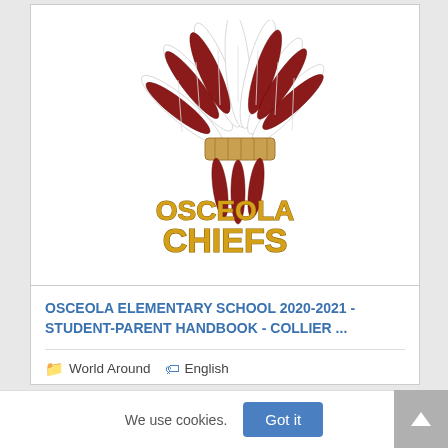[Figure (logo): Osceola Chiefs logo: a Native American headdress in dark red and white feathers with 'OSCEOLA CHIEFS' text in gold/yellow letters]
OSCEOLA ELEMENTARY SCHOOL 2020-2021 - STUDENT-PARENT HANDBOOK - COLLIER ...
World Around   English
We use cookies.
Got it